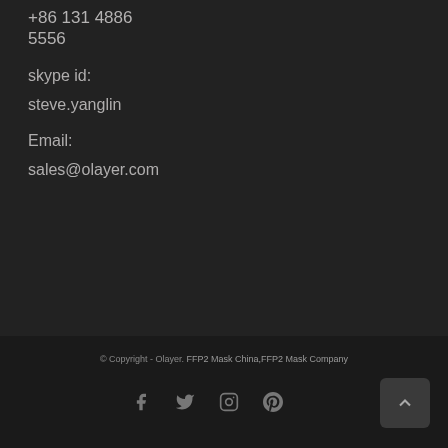+86 131 4886 5556
skype id:
steve.yanglin
Email:
sales@olayer.com
© Copyright - Olayer. FFP2 Mask China,FFP2 Mask Company